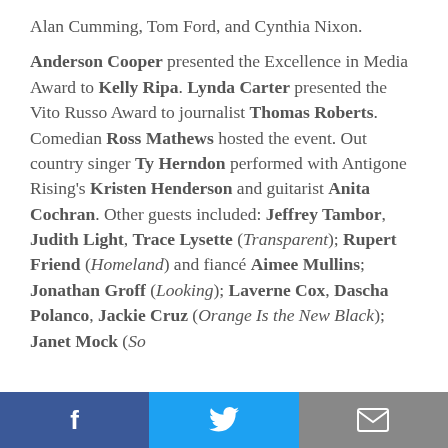Alan Cumming, Tom Ford, and Cynthia Nixon. Anderson Cooper presented the Excellence in Media Award to Kelly Ripa. Lynda Carter presented the Vito Russo Award to journalist Thomas Roberts. Comedian Ross Mathews hosted the event. Out country singer Ty Herndon performed with Antigone Rising's Kristen Henderson and guitarist Anita Cochran. Other guests included: Jeffrey Tambor, Judith Light, Trace Lysette (Transparent); Rupert Friend (Homeland) and fiancé Aimee Mullins; Jonathan Groff (Looking); Laverne Cox, Dascha Polanco, Jackie Cruz (Orange Is the New Black); Janet Mock (So [cut off]
[Figure (infographic): Social sharing bar at the bottom with three buttons: Facebook (blue), Twitter (light blue), and Email (gray)]